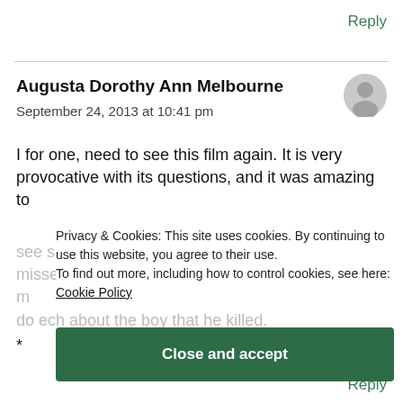Reply
Augusta Dorothy Ann Melbourne
September 24, 2013 at 10:41 pm
I for one, need to see this film again. It is very provocative with its questions, and it was amazing to see some analysis laid out like that. I think I also missed the humour. It was extremely brutal in its message and the speech about the boy that he killed.
Privacy & Cookies: This site uses cookies. By continuing to use this website, you agree to their use.
To find out more, including how to control cookies, see here:
Cookie Policy
Close and accept
Reply